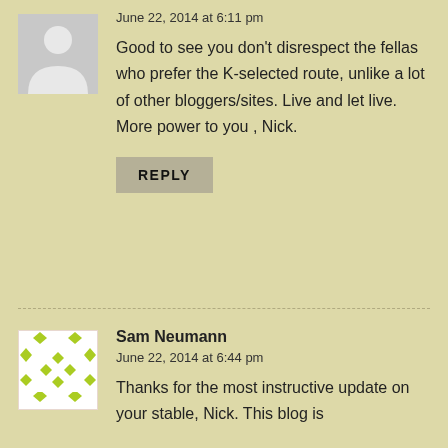[Figure (illustration): Gray silhouette avatar placeholder for anonymous commenter]
June 22, 2014 at 6:11 pm
Good to see you don't disrespect the fellas who prefer the K-selected route, unlike a lot of other bloggers/sites. Live and let live. More power to you , Nick.
REPLY
[Figure (illustration): Green and white geometric pattern avatar for Sam Neumann]
Sam Neumann
June 22, 2014 at 6:44 pm
Thanks for the most instructive update on your stable, Nick. This blog is